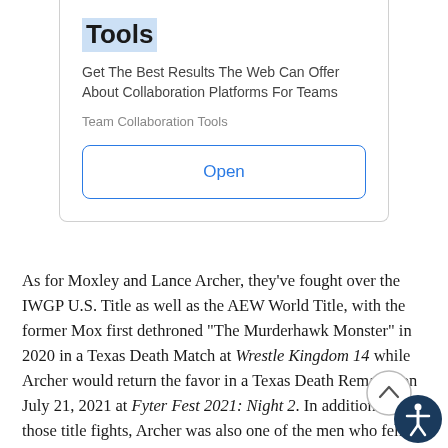Tools
Get The Best Results The Web Can Offer About Collaboration Platforms For Teams
Team Collaboration Tools
Open
As for Moxley and Lance Archer, they've fought over the IWGP U.S. Title as well as the AEW World Title, with the former Mox first dethroned “The Murderhawk Monster” in 2020 in a Texas Death Match at Wrestle Kingdom 14 while Archer would return the favor in a Texas Death Rematch on July 21, 2021 at Fyter Fest 2021: Night 2. In addition to those title fights, Archer was also one of the men who fell to Mox during his AEW